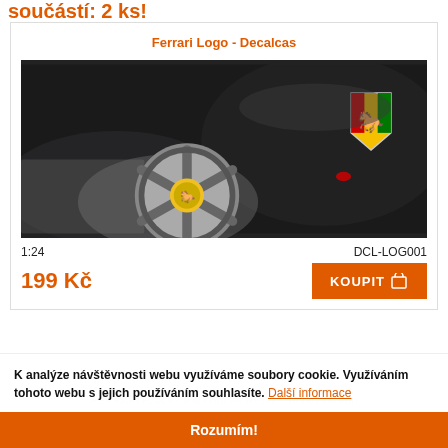součástí: 2 ks!
Ferrari Logo - Decalcas
[Figure (photo): Close-up photo of a black Ferrari car showing the alloy wheel with Ferrari horse logo on the hub, and the Ferrari prancing horse shield badge on the car body.]
1:24
DCL-LOG001
199 Kč
KOUPIT
K analýze návštěvnosti webu využíváme soubory cookie. Využíváním tohoto webu s jejich používáním souhlasíte. Další informace
FERRARI F2005 - Marlboro for Revell - Hobby Design
Rozumím!